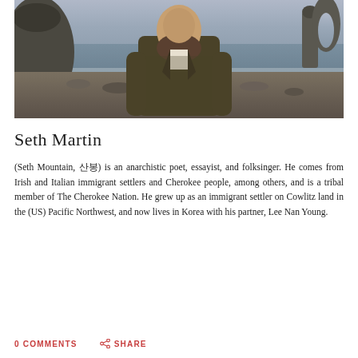[Figure (photo): Portrait photo of Seth Martin, a bearded man in an olive/dark green jacket, standing in front of a rocky coastal landscape with rock formations visible in the background]
Seth Martin
(Seth Mountain, 산봉) is an anarchistic poet, essayist, and folksinger. He comes from Irish and Italian immigrant settlers and Cherokee people, among others, and is a tribal member of The Cherokee Nation. He grew up as an immigrant settler on Cowlitz land in the (US) Pacific Northwest, and now lives in Korea with his partner, Lee Nan Young.
0 COMMENTS   SHARE